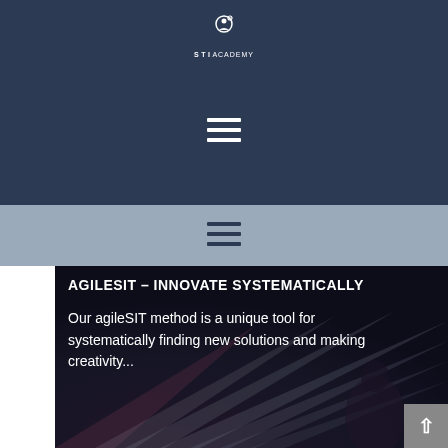[Figure (logo): STI Academy logo - circular icon with person/graduation symbol above text STIACADEMY]
[Figure (illustration): Hamburger menu icon (three white horizontal bars) on dark navy background]
[Figure (illustration): Hamburger menu icon (three dark horizontal bars) on light steel blue background]
[Figure (photo): Dark background photo with dramatic light beams radiating from lower left, with a partially visible figure holding something. Background for the agileSIT text section.]
AGILESIT – INNOVATE SYSTEMATICALLY
Our agileSIT method is a unique tool for systematically finding new solutions and making creativity...